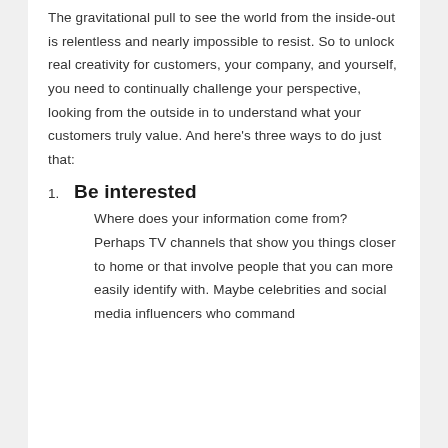The gravitational pull to see the world from the inside-out is relentless and nearly impossible to resist. So to unlock real creativity for customers, your company, and yourself, you need to continually challenge your perspective, looking from the outside in to understand what your customers truly value. And here's three ways to do just that:
1. Be interested
Where does your information come from? Perhaps TV channels that show you things closer to home or that involve people that you can more easily identify with. Maybe celebrities and social media influencers who command